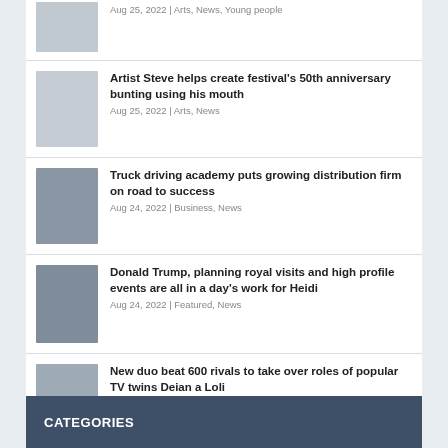Aug 25, 2022 | Arts, News, Young people
Artist Steve helps create festival's 50th anniversary bunting using his mouth
Aug 25, 2022 | Arts, News
Truck driving academy puts growing distribution firm on road to success
Aug 24, 2022 | Business, News
Donald Trump, planning royal visits and high profile events are all in a day's work for Heidi
Aug 24, 2022 | Featured, News
New duo beat 600 rivals to take over roles of popular TV twins Deian a Loli
Aug 23, 2022 | Arts, News
CATEGORIES